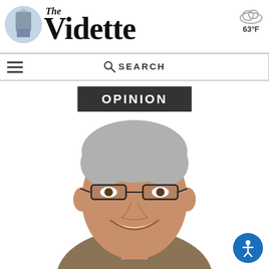The Vidette — 63°F
OPINION
[Figure (photo): Headshot of a smiling middle-aged man with gray hair, glasses, wearing a dark blue shirt and tan jacket, white background.]